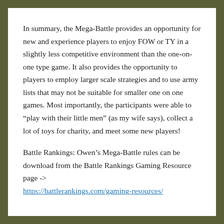In summary, the Mega-Battle provides an opportunity for new and experience players to enjoy FOW or TY in a slightly less competitive environment than the one-on-one type game. It also provides the opportunity to players to employ larger scale strategies and to use army lists that may not be suitable for smaller one on one games. Most importantly, the participants were able to “play with their little men” (as my wife says), collect a lot of toys for charity, and meet some new players!
Battle Rankings: Owen’s Mega-Battle rules can be download from the Battle Rankings Gaming Resource page -> https://battlerankings.com/gaming-resources/